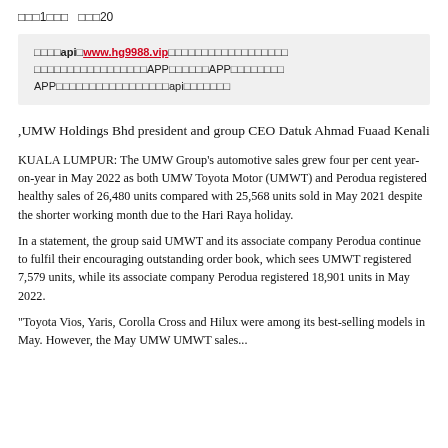第1版  第20页
皇冠api网www.hg9988.vip皇冠足球比分网皇冠足球比分 皇冠足球比分网APP下载皇冠足球APP手机版下载 APP皇冠足球比分实时比分足球比分api接口数据
,UMW Holdings Bhd president and group CEO Datuk Ahmad Fuaad Kenali
KUALA LUMPUR: The UMW Group's automotive sales grew four per cent year-on-year in May 2022 as both UMW Toyota Motor (UMWT) and Perodua registered healthy sales of 26,480 units compared with 25,568 units sold in May 2021 despite the shorter working month due to the Hari Raya holiday.
In a statement, the group said UMWT and its associate company Perodua continue to fulfil their encouraging outstanding order book, which sees UMWT registered 7,579 units, while its associate company Perodua registered 18,901 units in May 2022.
"Toyota Vios, Yaris, Corolla Cross and Hilux were among its best-selling models in May. However, the May UMW UMWT sales...